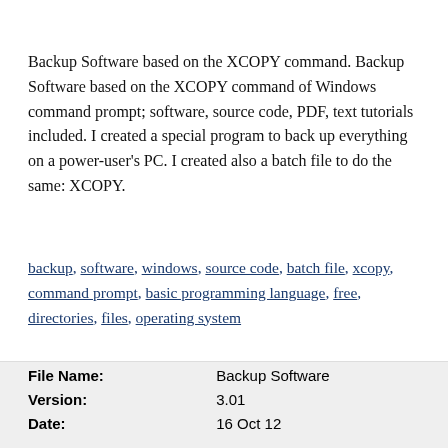Backup Software based on the XCOPY command. Backup Software based on the XCOPY command of Windows command prompt; software, source code, PDF, text tutorials included. I created a special program to back up everything on a power-user's PC. I created also a batch file to do the same: XCOPY.
backup, software, windows, source code, batch file, xcopy, command prompt, basic programming language, free, directories, files, operating system
[Figure (other): Two buttons: 'Download Now' and 'Visit Homepage']
| File Name: | Backup Software |
| Version: | 3.01 |
| Date: | 16 Oct 12 |